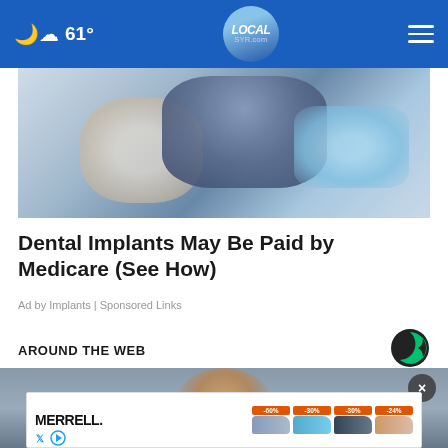61° LOCALsyr.com
[Figure (photo): Dental professional in blue checkered shirt wearing blue latex gloves examining a patient in a dental chair]
Dental Implants May Be Paid by Medicare (See How)
Ad by Implants | Sponsored Links
AROUND THE WEB
[Figure (logo): Taboola logo - circular C shape in dark with green corner]
[Figure (photo): Man's face looking downward, blurred background]
[Figure (advertisement): Merrell shoe advertisement showing discounted shoes at -60%, -30%, -30%, -24% off with social media icons]